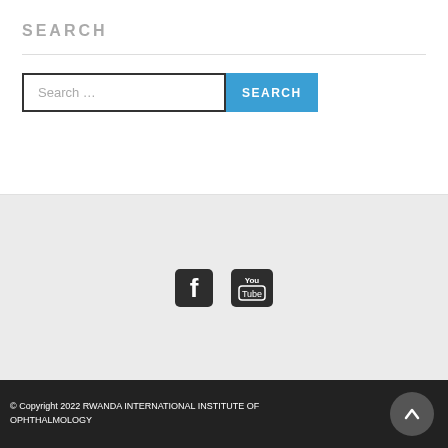SEARCH
[Figure (screenshot): Search input box with placeholder text 'Search ...' and a blue SEARCH button]
[Figure (infographic): Social media icons: Facebook and YouTube]
© Copyright 2022 RWANDA INTERNATIONAL INSTITUTE OF OPHTHALMOLOGY